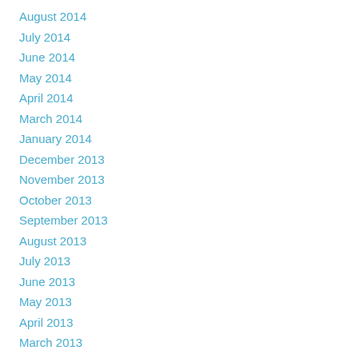August 2014
July 2014
June 2014
May 2014
April 2014
March 2014
January 2014
December 2013
November 2013
October 2013
September 2013
August 2013
July 2013
June 2013
May 2013
April 2013
March 2013
Categories
All
Baseball